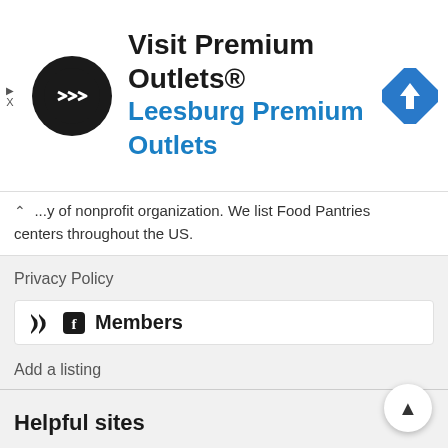[Figure (infographic): Advertisement banner: Visit Premium Outlets® Leesburg Premium Outlets with logo and navigation icon]
...y of nonprofit organization. We list Food Pantries centers throughout the US.
Privacy Policy
Members
Add a listing
Helpful sites
FreeFood.org
HSD Food Resources